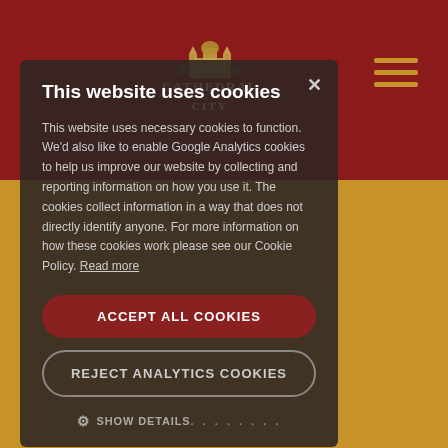[Figure (screenshot): Cathedral City cheese brand website screenshot with cookie consent modal overlay. Dark red background at top, golden/amber background below. A cookie consent dialog box with dark semi-transparent background contains a title, explanatory text, two buttons and a show details option. A hamburger menu icon appears in the top right. The Cathedral City logo with a stylized illustration of a cathedral building is visible at the top center.]
This website uses cookies
This website uses necessary cookies to function. We'd also like to enable Google Analytics cookies to help us improve our website by collecting and reporting information on how you use it. The cookies collect information in a way that does not directly identify anyone. For more information on how these cookies work please see our Cookie Policy. Read more
ACCEPT ALL COOKIES
REJECT ANALYTICS COOKIES
SHOW DETAILS